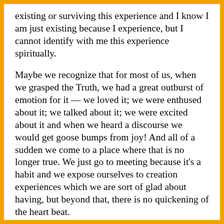existing or surviving this experience and I know I am just existing because I experience, but I cannot identify with me this experience spiritually.
Maybe we recognize that for most of us, when we grasped the Truth, we had a great outburst of emotion for it — we loved it; we were enthused about it; we talked about it; we were excited about it and when we heard a discourse we would get goose bumps from joy! And all of a sudden we come to a place where that is no longer true. We just go to meeting because it's a habit and we expose ourselves to creation experiences which we are sort of glad about having, but beyond that, there is no quickening of the heart beat.
Here are some possible reasons WHY we may experience that God has hidden himself from us:-